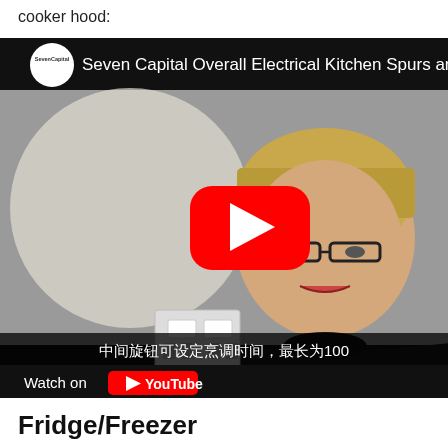cooker hood:
[Figure (screenshot): YouTube video thumbnail showing a woman with blonde hair and glasses in a black turtleneck, standing in front of a white wall with an electrical socket. A red YouTube play button is visible in the center. The video title reads 'Seven Capital Overall Electrical Kitchen Spurs an...' with a SevenCapital logo. Chinese subtitle text at the bottom reads '中间旋钮可设定烹调时间，最长为100'. A 'Watch on YouTube' button is visible at the bottom left.]
Fridge/Freezer